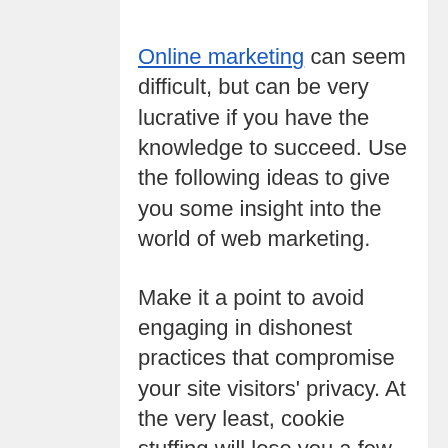Online marketing can seem difficult, but can be very lucrative if you have the knowledge to succeed. Use the following ideas to give you some insight into the world of web marketing.
Make it a point to avoid engaging in dishonest practices that compromise your site visitors' privacy. At the very least, cookie stuffing will lose you a few customers. You could possibly spread viruses or break the customer tracking chains.
Having to frequently recheck email messages to remind yourself of the task at hand wastes your time and causes